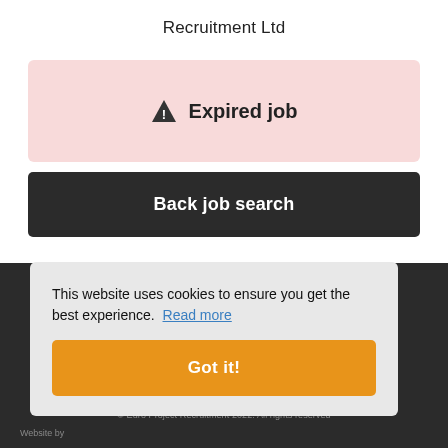Recruitment Ltd
⚠ Expired job
Back job search
This website uses cookies to ensure you get the best experience. Read more
Got it!